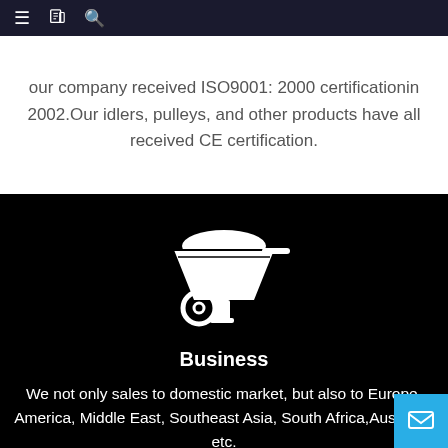≡  [book icon]  🔍
our company received ISO9001: 2000 certificationin 2002.Our idlers, pulleys, and other products have all received CE certification.
[Figure (illustration): White wheelbarrow icon on black background]
Business
We not only sales to domestic market, but also to Europe, America, Middle East, Southeast Asia, South Africa,Australia, etc.